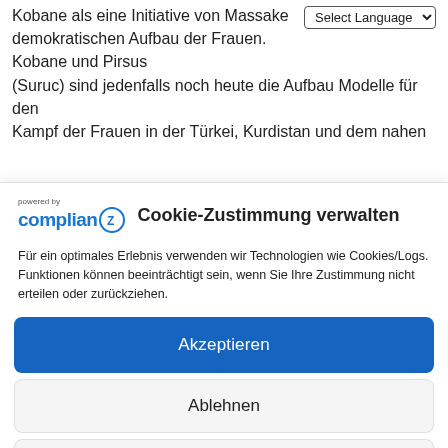Kobane als eine Initiative von Massake demokratischen Aufbau der Frauen. Kobane und Pirsus (Suruc) sind jedenfalls noch heute die Aufbau Modelle für den Kampf der Frauen in der Türkei, Kurdistan und dem nahen
[Figure (screenshot): Cookie consent dialog from Complianz plugin. Contains logo 'powered by complianZ' with circular Z badge, title 'Cookie-Zustimmung verwalten', body text about cookies, and three buttons: Akzeptieren (blue), Ablehnen, Einstellungen ansehen. Footer links: Cookie-Richtlinie, Datenschutzerklärung, Impressum.]
Für ein optimales Erlebnis verwenden wir Technologien wie Cookies/Logs. Funktionen können beeinträchtigt sein, wenn Sie Ihre Zustimmung nicht erteilen oder zurückziehen.